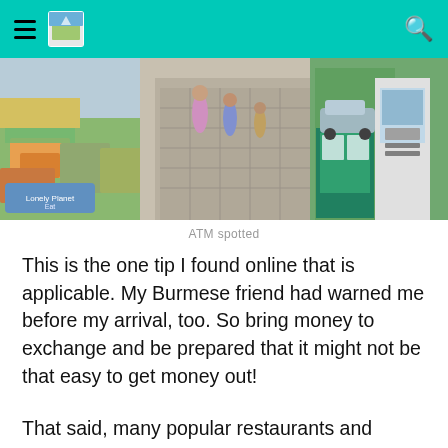[Figure (photo): A street market scene with stalls selling flowers and various goods on the left, pedestrians walking on a cobblestone street, cars parked on the right side, and a green-fronted building with an ATM visible on the far right.]
ATM spotted
This is the one tip I found online that is applicable. My Burmese friend had warned me before my arrival, too. So bring money to exchange and be prepared that it might not be that easy to get money out!
That said, many popular restaurants and shops do accept credit card and USD, so while you